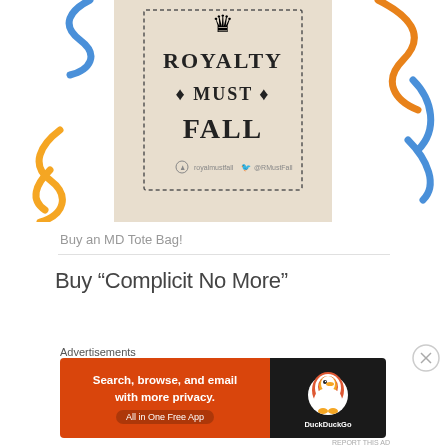[Figure (illustration): A tote bag design with decorative squiggles on left and right sides. The center shows a beige/cream tote bag with a crown graphic and dotted border, text reading ROYALTY MUST FALL with decorative diamond bullets. Social media handles visible at bottom of bag.]
Buy an MD Tote Bag!
Buy “Complicit No More”
Advertisements
[Figure (screenshot): DuckDuckGo advertisement banner. Orange left side with text: Search, browse, and email with more privacy. All in One Free App. Dark right side with DuckDuckGo duck logo and DuckDuckGo text.]